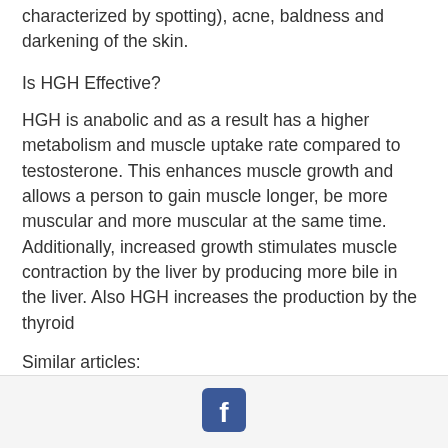characterized by spotting), acne, baldness and darkening of the skin.
Is HGH Effective?
HGH is anabolic and as a result has a higher metabolism and muscle uptake rate compared to testosterone. This enhances muscle growth and allows a person to gain muscle longer, be more muscular and more muscular at the same time. Additionally, increased growth stimulates muscle contraction by the liver by producing more bile in the liver. Also HGH increases the production by the thyroid
Similar articles:
https://www.consciouseducationbymissdoan.com/profile/pagekobza1976/profile
https://www.prettyandbriteboutique.com/profil
[Figure (logo): Facebook logo icon in white on dark blue square background]